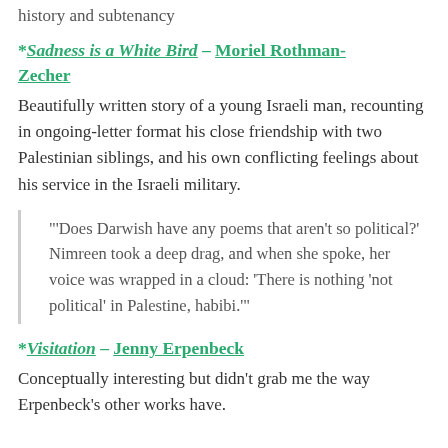history and subtenancy
*Sadness is a White Bird – Moriel Rothman-Zecher
Beautifully written story of a young Israeli man, recounting in ongoing-letter format his close friendship with two Palestinian siblings, and his own conflicting feelings about his service in the Israeli military.
"'Does Darwish have any poems that aren't so political?' Nimreen took a deep drag, and when she spoke, her voice was wrapped in a cloud: 'There is nothing 'not political' in Palestine, habibi.'"
*Visitation – Jenny Erpenbeck
Conceptually interesting but didn't grab me the way Erpenbeck's other works have.